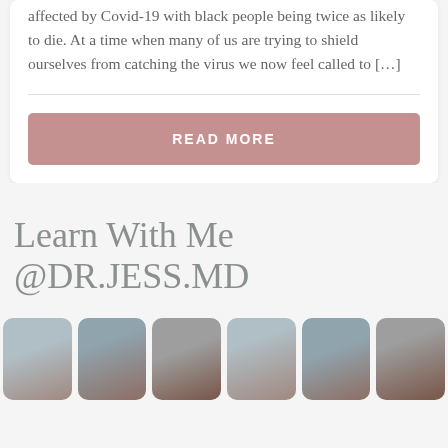affected by Covid-19 with black people being twice as likely to die. At a time when many of us are trying to shield ourselves from catching the virus we now feel called to […]
READ MORE
Learn With Me @DR.JESS.MD
[Figure (photo): Row of six blurred social media thumbnail images with rounded corners, showing outdoor/nature scenes in muted blue, grey, and brown tones]